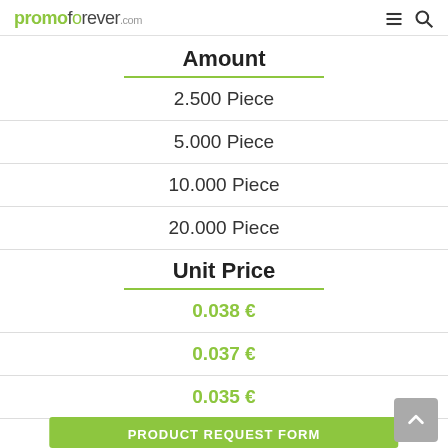promoforever.com
Amount
2.500 Piece
5.000 Piece
10.000 Piece
20.000 Piece
Unit Price
0.038 €
0.037 €
0.035 €
0.033 €
PRODUCT REQUEST FORM